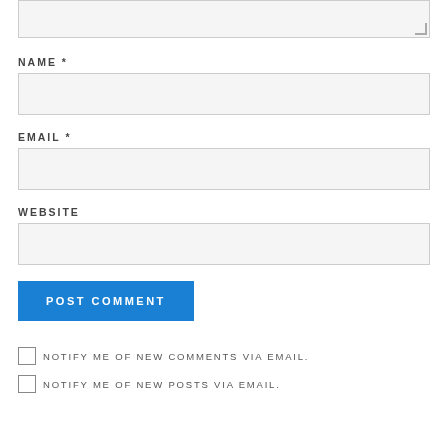[Figure (screenshot): Top portion of a comment form showing the bottom of a textarea input with resize handle]
NAME *
[Figure (screenshot): Name text input field (empty, light gray background)]
EMAIL *
[Figure (screenshot): Email text input field (empty, light gray background)]
WEBSITE
[Figure (screenshot): Website text input field (empty, light gray background)]
POST COMMENT
NOTIFY ME OF NEW COMMENTS VIA EMAIL.
NOTIFY ME OF NEW POSTS VIA EMAIL.